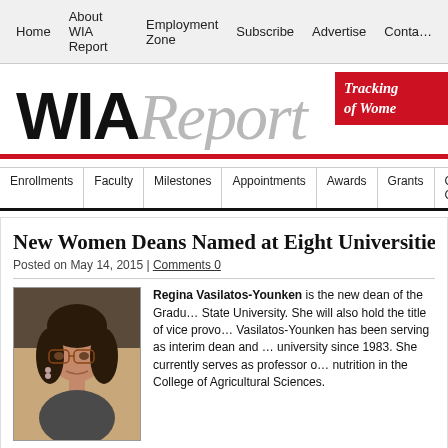Home | About WIA Report | Employment Zone | Subscribe | Advertise | Conta…
WIA Report — Tracking of Women
Enrollments | Faculty | Milestones | Appointments | Awards | Grants | Gender Gap | L…
New Women Deans Named at Eight Universities
Posted on May 14, 2015 | Comments 0
[Figure (photo): Headshot photo of Regina Vasilatos-Younken, a woman with dark curly hair and glasses]
Regina Vasilatos-Younken is the new dean of the Graduate State University. She will also hold the title of vice provost. Vasilatos-Younken has been serving as interim dean and university since 1983. She currently serves as professor of nutrition in the College of Agricultural Sciences.
Dean Vasilatos-Younken is a graduate of the University of Maine. She holds a Pennsylvania State University.